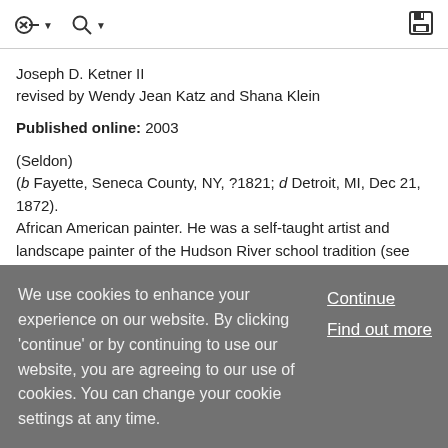toolbar with navigation icons
Joseph D. Ketner II
revised by Wendy Jean Katz and Shana Klein
Published online: 2003
(Seldon)
(b Fayette, Seneca County, NY, ?1821; d Detroit, MI, Dec 21, 1872).
African American painter. He was a self-taught artist and landscape painter of the Hudson River school tradition (see fig.). Born into a family of painters and handymen, Duncanson first worked as a house-painter and glazier in
We use cookies to enhance your experience on our website. By clicking 'continue' or by continuing to use our website, you are agreeing to our use of cookies. You can change your cookie settings at any time.